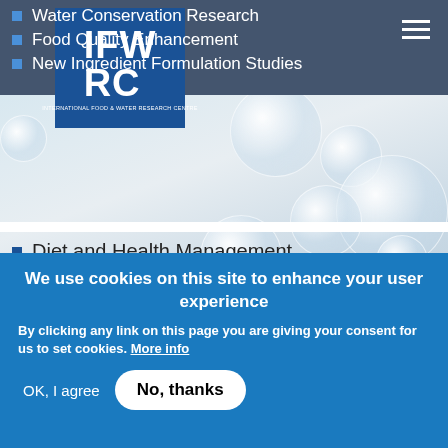[Figure (logo): IFWRC - International Food & Water Research Centre logo in white on blue background]
Water Conservation Research
Food Quality Enhancement
New Ingredient Formulation Studies
Diet and Health Management
REVIEW OUR SERVICES
We use cookies on this site to enhance your user experience
By clicking any link on this page you are giving your consent for us to set cookies. More info
OK, I agree
No, thanks